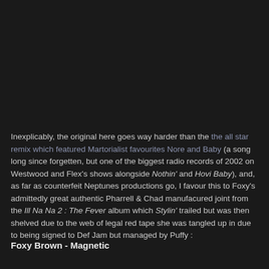Inexplicably, the original here goes way harder than the the all star remix which featured Martorialist favourites Nore and Baby (a song long since forgetten, but one of the biggest radio records of 2002 on Westwood and Flex's shows alongside Nothin' and Hovi Baby), and, as far as counterfeit Neptunes productions go, I favour this to Foxy's admittedly great authentic Pharrell & Chad manufacured joint from the Ill Na Na 2 : The Fever album which Stylin' trailed but was then shelved due to the web of legal red tape she was tangled up in due to being signed to Def Jam but managed by Puffy :
Foxy Brown - Magnetic